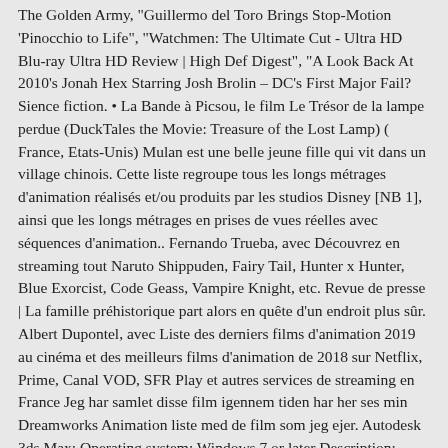The Golden Army, 'Guillermo del Toro Brings Stop-Motion 'Pinocchio to Life', 'Watchmen: The Ultimate Cut - Ultra HD Blu-ray Ultra HD Review | High Def Digest', 'A Look Back At 2010's Jonah Hex Starring Josh Brolin – DC's First Major Fail? Sience fiction. • La Bande à Picsou, le film Le Trésor de la lampe perdue (DuckTales the Movie: Treasure of the Lost Lamp) ( France, Etats-Unis) Mulan est une belle jeune fille qui vit dans un village chinois. Cette liste regroupe tous les longs métrages d'animation réalisés et/ou produits par les studios Disney [NB 1], ainsi que les longs métrages en prises de vues réelles avec séquences d'animation.. Fernando Trueba, avec Découvrez en streaming tout Naruto Shippuden, Fairy Tail, Hunter x Hunter, Blue Exorcist, Code Geass, Vampire Knight, etc. Revue de presse | La famille préhistorique part alors en quête d'un endroit plus sûr. Albert Dupontel, avec Liste des derniers films d'animation 2019 au cinéma et des meilleurs films d'animation de 2018 sur Netflix, Prime, Canal VOD, SFR Play et autres services de streaming en France Jeg har samlet disse film igennem tiden har her ses min Dreamworks Animation liste med de film som jeg ejer. Autodesk 3ds Max: Operating system: Windows 7 or later Description: Autodesk 3ds Max, formerly 3D Studio, then 3D Studio Max, is a professional 3D animation software for making 3D animations, models, games, and images. The film begins with a sweetly singing cricket, yet plunges into scenes from a nightmare: Pinocchio's extending